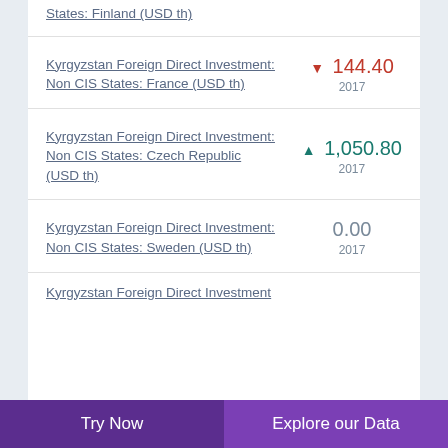States: Finland (USD th)
Kyrgyzstan Foreign Direct Investment: Non CIS States: France (USD th)
Kyrgyzstan Foreign Direct Investment: Non CIS States: Czech Republic (USD th)
Kyrgyzstan Foreign Direct Investment: Non CIS States: Sweden (USD th)
Kyrgyzstan Foreign Direct Investment
Try Now  |  Explore our Data